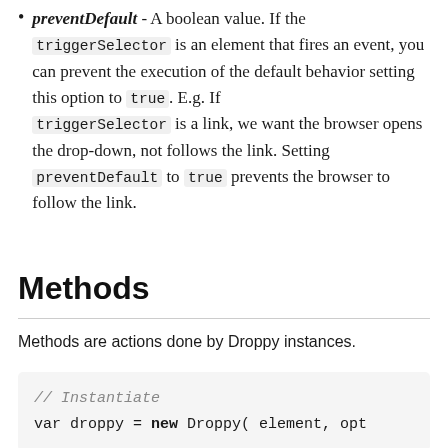preventDefault - A boolean value. If the triggerSelector is an element that fires an event, you can prevent the execution of the default behavior setting this option to true. E.g. If triggerSelector is a link, we want the browser opens the drop-down, not follows the link. Setting preventDefault to true prevents the browser to follow the link.
Methods
Methods are actions done by Droppy instances.
// Instantiate
var droppy = new Droppy( element, opt